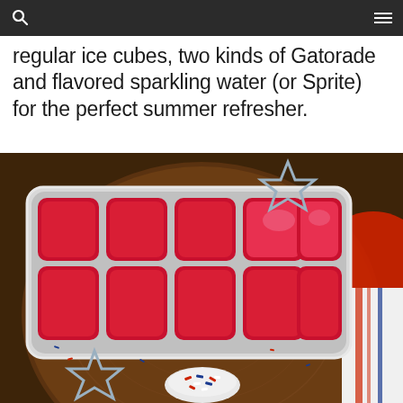regular ice cubes, two kinds of Gatorade and flavored sparkling water (or Sprite) for the perfect summer refresher.
[Figure (photo): An ice cube tray filled with bright red liquid (Gatorade), photographed on a wooden round board with star-shaped cookie cutters and a small bowl of red, white, and blue sprinkles. A red plate and striped cloth are visible in the background.]